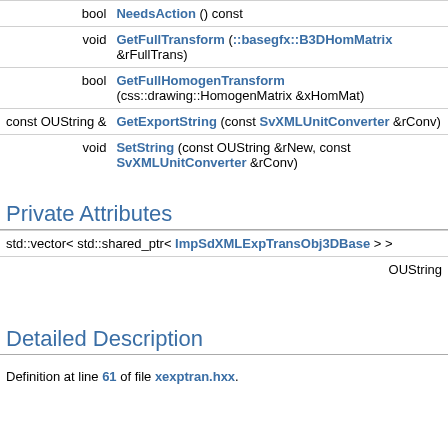| Return | Function |
| --- | --- |
| bool | NeedsAction () const |
| void | GetFullTransform (::basegfx::B3DHomMatrix &rFullTrans) |
| bool | GetFullHomogenTransform (css::drawing::HomogenMatrix &xHomMat) |
| const OUString & | GetExportString (const SvXMLUnitConverter &rConv) |
| void | SetString (const OUString &rNew, const SvXMLUnitConverter &rConv) |
Private Attributes
| std::vector< std::shared_ptr< ImpSdXMLExpTransObj3DBase > > |
| OUString |
Detailed Description
Definition at line 61 of file xexptran.hxx.